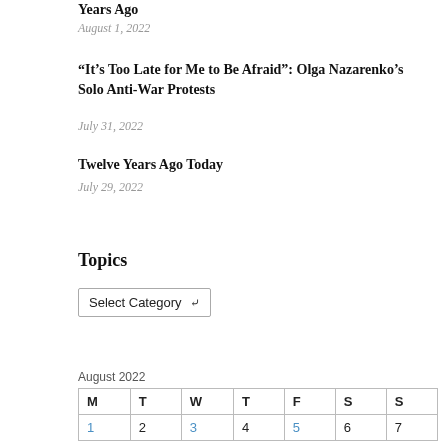Years Ago
August 1, 2022
“It’s Too Late for Me to Be Afraid”: Olga Nazarenko’s Solo Anti-War Protests
July 31, 2022
Twelve Years Ago Today
July 29, 2022
Topics
Select Category
August 2022
| M | T | W | T | F | S | S |
| --- | --- | --- | --- | --- | --- | --- |
| 1 | 2 | 3 | 4 | 5 | 6 | 7 |